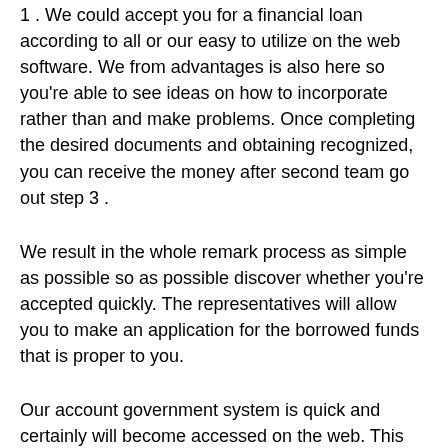1 . We could accept you for a financial loan according to all or our easy to utilize on the web software. We from advantages is also here so you're able to see ideas on how to incorporate rather than and make problems. Once completing the desired documents and obtaining recognized, you can receive the money after second team go out step 3 .
We result in the whole remark process as simple as possible so as possible discover whether you're accepted quickly. The representatives will allow you to make an application for the borrowed funds that is proper to you.
Our account government system is quick and certainly will become accessed on the web. This has built in service and accessibility the agencies and if you desire let. High quality solution and consistent awareness of outline allow us to supply the top car label fund for you. Acquiring the finest name loans is easy that have an established services vendor.